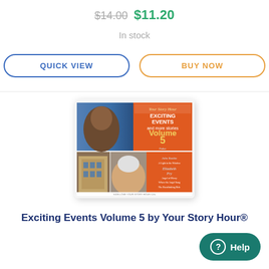$14.00 $11.20
In stock
QUICK VIEW
BUY NOW
[Figure (photo): Book cover of 'Exciting Events Volume 5' by Your Story Hour, showing historical figures including John Parker, John Rankin, Elizabeth Fry, and Angel of Mercy on an orange and blue cover.]
Exciting Events Volume 5 by Your Story Hour®